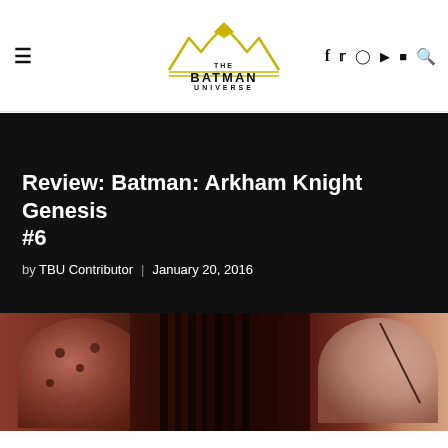The Batman Universe — navigation header with logo, hamburger menu, and social icons
Review: Batman: Arkham Knight Genesis #6
by TBU Contributor  |  January 20, 2016
[Figure (photo): Close-up image of Batman Arkham Knight armor/suit details in dark reddish-brown tones]